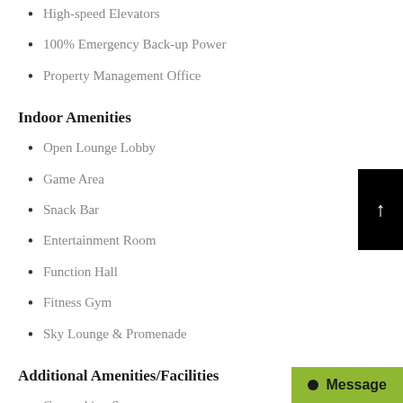High-speed Elevators
100% Emergency Back-up Power
Property Management Office
Indoor Amenities
Open Lounge Lobby
Game Area
Snack Bar
Entertainment Room
Function Hall
Fitness Gym
Sky Lounge & Promenade
Additional Amenities/Facilities
Co-working Spaces
Sky Bridge
Garbage Chute